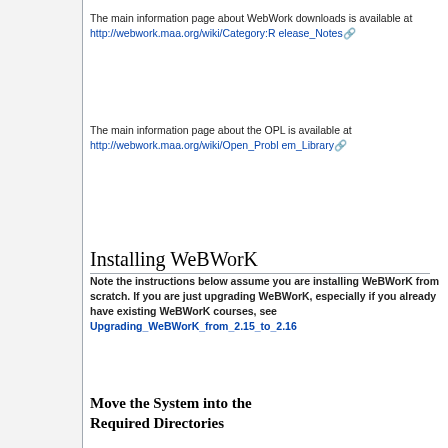The main information page about WebWork downloads is available at http://webwork.maa.org/wiki/Category:Release_Notes
The main information page about the OPL is available at http://webwork.maa.org/wiki/Open_Problem_Library
Installing WeBWorK
Note the instructions below assume you are installing WeBWorK from scratch. If you are just upgrading WeBWorK, especially if you already have existing WeBWorK courses, see Upgrading_WeBWorK_from_2.15_to_2.16
Move the System into the Required Directories